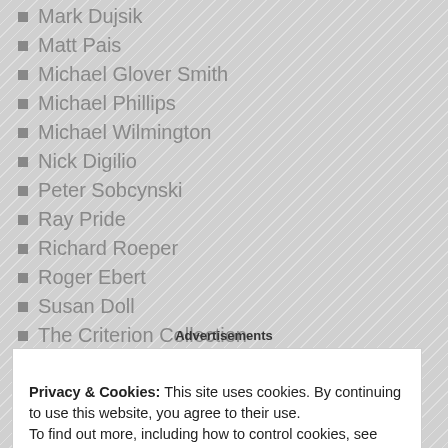Mark Dujsik
Matt Pais
Michael Glover Smith
Michael Phillips
Michael Wilmington
Nick Digilio
Peter Sobcynski
Ray Pride
Richard Roeper
Roger Ebert
Susan Doll
The Criterion Collection
The Dissolve
Advertisements
Privacy & Cookies: This site uses cookies. By continuing to use this website, you agree to their use. To find out more, including how to control cookies, see here: Cookie Policy
Close and accept